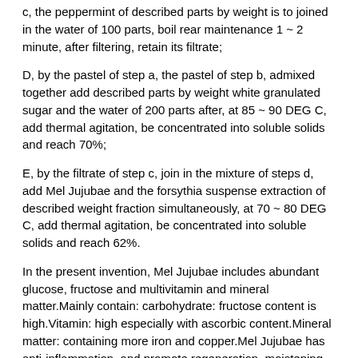c, the peppermint of described parts by weight is to joined in the water of 100 parts, boil rear maintenance 1 ~ 2 minute, after filtering, retain its filtrate;
D, by the pastel of step a, the pastel of step b, admixed together add described parts by weight white granulated sugar and the water of 200 parts after, at 85 ~ 90 DEG C, add thermal agitation, be concentrated into soluble solids and reach 70%;
E, by the filtrate of step c, join in the mixture of steps d, add Mel Jujubae and the forsythia suspense extraction of described weight fraction simultaneously, at 70 ~ 80 DEG C, add thermal agitation, be concentrated into soluble solids and reach 62%.
In the present invention, Mel Jujubae includes abundant glucose, fructose and multivitamin and mineral matter.Mainly contain: carbohydrate: fructose content is high.Vitamin: high especially with ascorbic content.Mineral matter: containing more iron and copper.Mel Jujubae has anti-inflammation, and promote regeneration, moistening lung intestines, reinforcing spleen and kidney, removing toxic substances protects the liver, cardiac stimulant